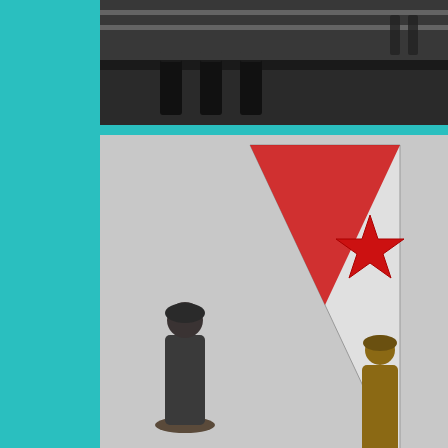[Figure (photo): Close-up photo of bullet casings/ammunition displayed on a surface, dark background]
[Figure (photo): Military figurines/toy soldiers displayed with a triangular flag stand featuring a red stripe and a star emblem]
[Figure (photo): Military figurines near a tank or military vehicle model on a display surface with a red flag element]
[Figure (photo): A hand pointing at small military figurines/toy soldiers on a colorful map or display background]